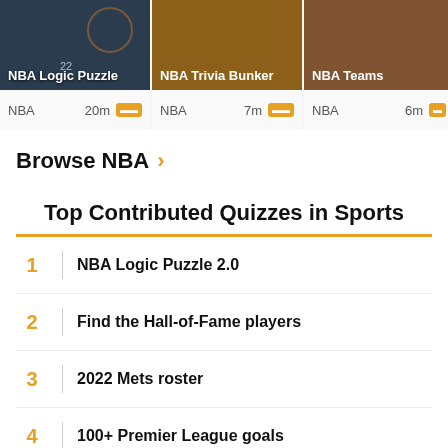[Figure (screenshot): NBA Logic Puzzle card with basketball photo and NBA 20m label]
[Figure (screenshot): NBA Trivia Bunker card with basketball photo and NBA 7m label]
[Figure (screenshot): NBA Teams card with basketball photo and NBA 6m label]
Browse NBA
Top Contributed Quizzes in Sports
1 NBA Logic Puzzle 2.0
2 Find the Hall-of-Fame players
3 2022 Mets roster
4 100+ Premier League goals